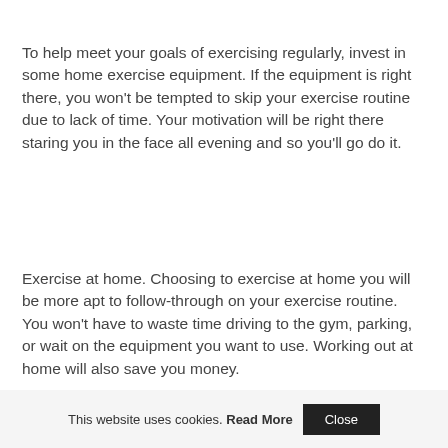To help meet your goals of exercising regularly, invest in some home exercise equipment. If the equipment is right there, you won't be tempted to skip your exercise routine due to lack of time. Your motivation will be right there staring you in the face all evening and so you'll go do it.
Exercise at home. Choosing to exercise at home you will be more apt to follow-through on your exercise routine. You won't have to waste time driving to the gym, parking, or wait on the equipment you want to use. Working out at home will also save you money.
This website uses cookies. Read More Close